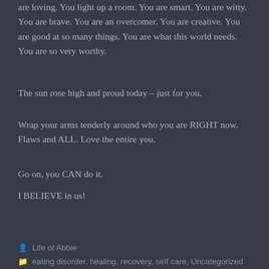are loving. You light up a room. You are smart. You are witty. You are brave. You are an overcomer. You are creative. You are good at so many things. You are what this world needs. You are so very worthy.
The sun rose high and proud today – just for you.
Wrap your arms tenderly around who you are RIGHT now. Flaws and ALL. Love the entire you.
Go on, you CAN do it.
I BELIEVE in us!
Life of Abbie
eating disorder, healing, recovery, self care, Uncategorized